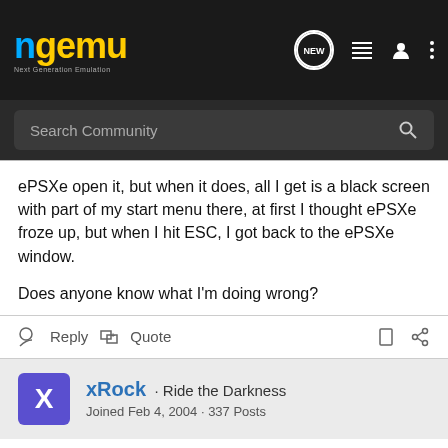ngemu · Next Generation Emulation
Search Community
ePSXe open it, but when it does, all I get is a black screen with part of my start menu there, at first I thought ePSXe froze up, but when I hit ESC, I got back to the ePSXe window.

Does anyone know what I'm doing wrong?
Reply  Quote
xRock · Ride the Darkness
Joined Feb 4, 2004 · 337 Posts
#2 · Jul 21, 2005
Seems like a plugin issue. What plugins are you using? and post there settings here. And have you tried making the iso with